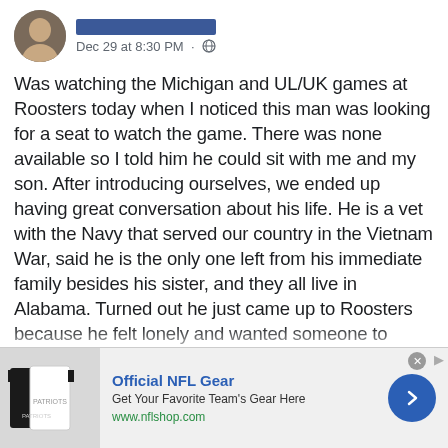Dec 29 at 8:30 PM
Was watching the Michigan and UL/UK games at Roosters today when I noticed this man was looking for a seat to watch the game. There was none available so I told him he could sit with me and my son. After introducing ourselves, we ended up having great conversation about his life. He is a vet with the Navy that served our country in the Vietnam War, said he is the only one left from his immediate family besides his sister, and they all live in Alabama. Turned out he just came up to Roosters because he felt lonely and wanted someone to watch the game with. It was pretty cool to have this experience today, even cooler for my son to see how an act of kindness can impact
[Figure (other): Advertisement banner for Official NFL Gear with image of NFL jerseys, title 'Official NFL Gear', subtitle 'Get Your Favorite Team's Gear Here', URL 'www.nflshop.com', and a blue circular arrow button]